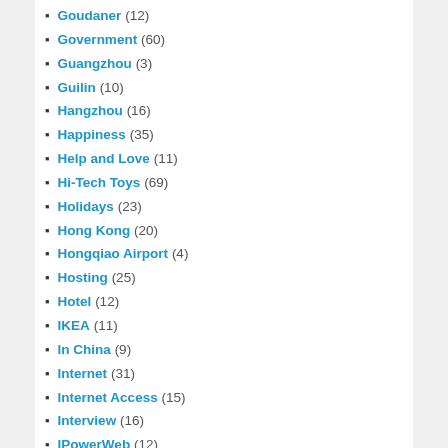Goudaner (12)
Government (60)
Guangzhou (3)
Guilin (10)
Hangzhou (16)
Happiness (35)
Help and Love (11)
Hi-Tech Toys (69)
Holidays (23)
Hong Kong (20)
Hongqiao Airport (4)
Hosting (25)
Hotel (12)
IKEA (11)
In China (9)
Internet (31)
Internet Access (15)
Interview (16)
IPowerWeb (12)
Italy (6)
Japan (6)
Jet Lag (4)